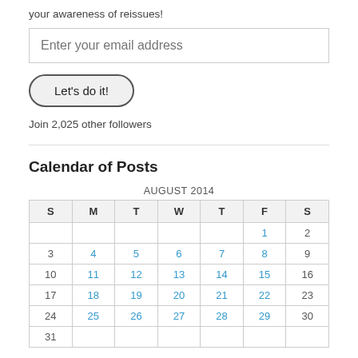your awareness of reissues!
Enter your email address
Let's do it!
Join 2,025 other followers
Calendar of Posts
| S | M | T | W | T | F | S |
| --- | --- | --- | --- | --- | --- | --- |
|  |  |  |  |  | 1 | 2 |
| 3 | 4 | 5 | 6 | 7 | 8 | 9 |
| 10 | 11 | 12 | 13 | 14 | 15 | 16 |
| 17 | 18 | 19 | 20 | 21 | 22 | 23 |
| 24 | 25 | 26 | 27 | 28 | 29 | 30 |
| 31 |  |  |  |  |  |  |